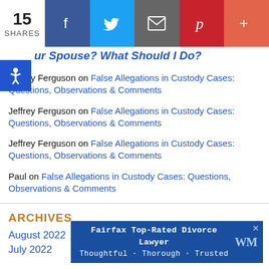15 SHARES | Facebook | Twitter | Email | Pinterest | More
ur Spouse? What Should I Do?
Jeffrey Ferguson on False Allegations in Custody Cases: Questions, Observations & Comments
Jeffrey Ferguson on False Allegations in Custody Cases: Questions, Observations & Comments
Jeffrey Ferguson on False Allegations in Custody Cases: Questions, Observations & Comments
Paul on False Allegations in Custody Cases: Questions, Observations & Comments
ARCHIVES
August 2022
July 2022
[Figure (infographic): Ad banner: Fairfax Top-Rated Divorce Lawyer. Thoughtful · Thorough · Trusted. WM logo. Close button.]